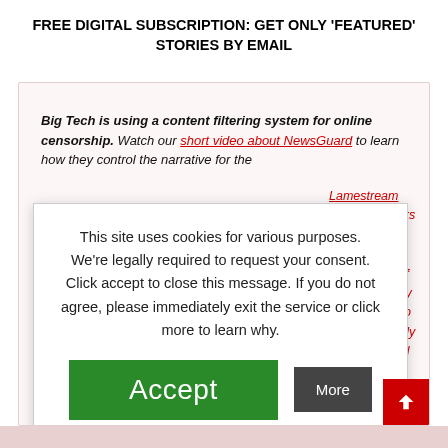FREE DIGITAL SUBSCRIPTION: GET ONLY 'FEATURED' STORIES BY EMAIL
Big Tech is using a content filtering system for online censorship. Watch our short video about NewsGuard to learn how they control the narrative for the Lamestream Media. NewsGuard works to find certain stories their - regardless of accurate. They ad-networks to they rate poorly uld be criminal orld nonsense ail and get the r inbox.
This site uses cookies for various purposes. We're legally required to request your consent. Click accept to close this message. If you do not agree, please immediately exit the service or click more to learn why.